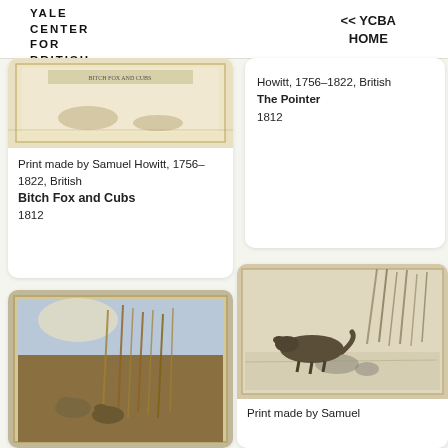YALE CENTER FOR BRITISH ART
<< YCBA HOME
[Figure (illustration): Print image showing fox scene - Bitch Fox and Cubs, 1812, top portion visible]
Print made by Samuel Howitt, 1756–1822, British Bitch Fox and Cubs 1812
Howitt, 1756–1822, British The Pointer 1812
[Figure (illustration): Colorful print of rabbits/hares among tall reeds/grasses]
[Figure (illustration): Black and white etching of an otter or fox-like animal near water and reeds]
Print made by Samuel